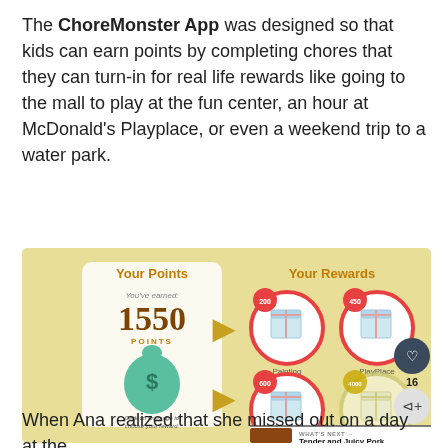The ChoreMonster App was designed so that kids can earn points by completing chores that they can turn-in for real life rewards like going to the mall to play at the fun center, an hour at McDonald's Playplace, or even a weekend trip to a water park.
[Figure (screenshot): ChoreMonster App screenshot showing 'Your Points' panel with 1550 points and a money bag icon, and 'Your Rewards' panel showing gift boxes labeled Painting (200pts), PlayPlace (450pts), New Toy (600pts), and a fourth reward (4000pts). Social sharing buttons show 16 likes.]
When Ana realized that she missed out on a day at the